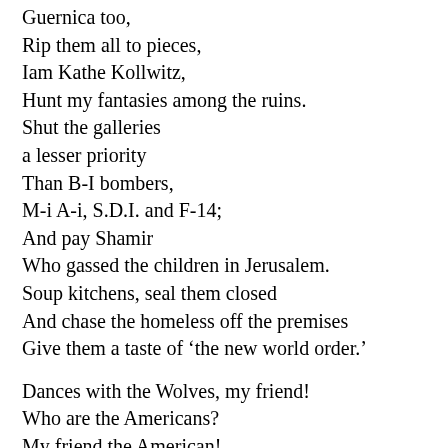Guernica too,
Rip them all to pieces,
Iam Kathe Kollwitz,
Hunt my fantasies among the ruins.
Shut the galleries
a lesser priority
Than B-I bombers,
M-i A-i, S.D.I. and F-14;
And pay Shamir
Who gassed the children in Jerusalem.
Soup kitchens, seal them closed
And chase the homeless off the premises
Give them a taste of ‘the new world order.’

Dances with the Wolves, my friend!
Who are the Americans?
My friend the American!
You are a Nelson Mandela
towering, wholesome and defiant,
loyal to the children;